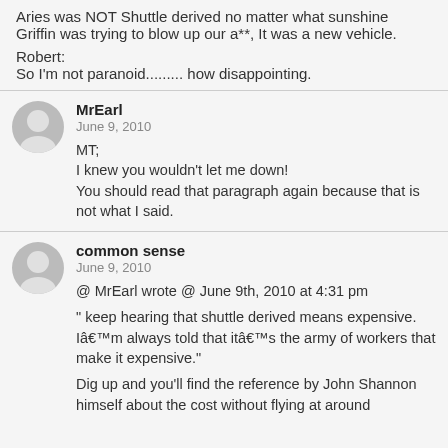Aries was NOT Shuttle derived no matter what sunshine Griffin was trying to blow up our a**, It was a new vehicle.

Robert:
So I'm not paranoid......... how disappointing.
MrEarl
June 9, 2010
MT;
I knew you wouldn't let me down!
You should read that paragraph again because that is not what I said.
common sense
June 9, 2010
@ MrEarl wrote @ June 9th, 2010 at 4:31 pm
" keep hearing that shuttle derived means expensive. Iâ€™m always told that itâ€™s the army of workers that make it expensive."
Dig up and you'll find the reference by John Shannon himself about the cost without flying at around